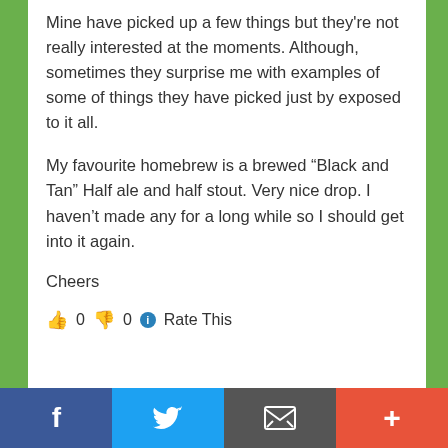Mine have picked up a few things but they're not really interested at the moments. Although, sometimes they surprise me with examples of some of things they have picked just by exposed to it all.
My favourite homebrew is a brewed “Black and Tan” Half ale and half stout. Very nice drop. I haven’t made any for a long while so I should get into it again.
Cheers
👍 0 👎 0 ⓘ Rate This
[Figure (other): Social sharing bar with Facebook, Twitter, email/message, and plus buttons at the bottom of the page]